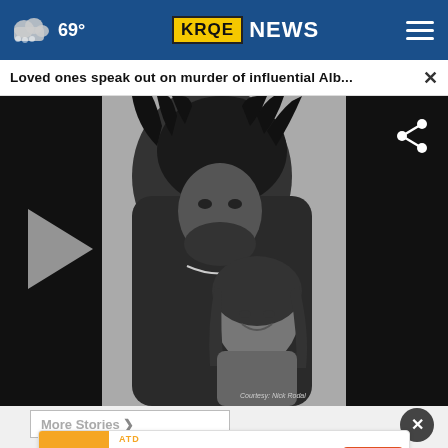69° KRQE NEWS
Loved ones speak out on murder of influential Alb...
[Figure (photo): Black and white photo of a man with dreadlocks leaning his forehead toward a smiling young girl, with photo credit 'Courtesy: Nick Rodal']
More Stories ›
ATD Register Now & Save Open